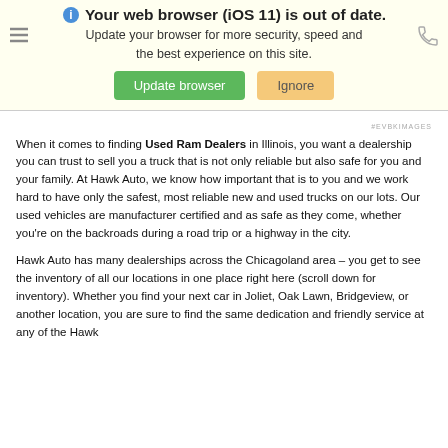Your web browser (iOS 11) is out of date. Update your browser for more security, speed and the best experience on this site. Update browser | Ignore
[Figure (screenshot): Browser update warning banner with 'Update browser' green button and 'Ignore' tan button on a pale yellow background]
#EVBKIMAGES
When it comes to finding Used Ram Dealers in Illinois, you want a dealership you can trust to sell you a truck that is not only reliable but also safe for you and your family. At Hawk Auto, we know how important that is to you and we work hard to have only the safest, most reliable new and used trucks on our lots. Our used vehicles are manufacturer certified and as safe as they come, whether you're on the backroads during a road trip or a highway in the city.
Hawk Auto has many dealerships across the Chicagoland area – you get to see the inventory of all our locations in one place right here (scroll down for inventory). Whether you find your next car in Joliet, Oak Lawn, Bridgeview, or another location, you are sure to find the same dedication and friendly service at any of the Hawk